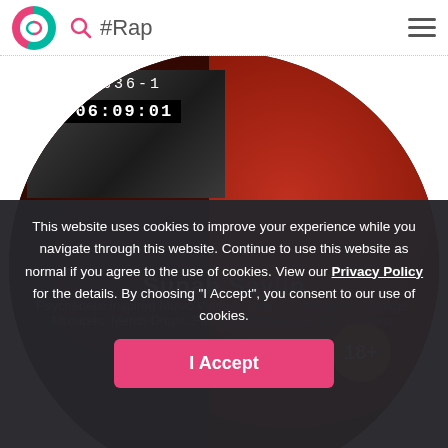#Rap
[Figure (screenshot): Circular cropped image of a rapper under red lighting; top-left inset shows a black-and-white VHS footage with timecode 2336-1 and counter 01:06:09:01. An orange 18+ badge is visible bottom-right of the circle.]
This website uses cookies to improve your experience while you navigate through this website. Continue to use this website as normal if you agree to the use of cookies. View our Privacy Policy for the details. By choosing "I Accept", you consent to our use of cookies.
Supah Saylin
Psychedelic Inspired Music Videos, Behind The Scenes Footage, Mixtapes, Merch Drops, Fan Submissions, Studio Sessions,